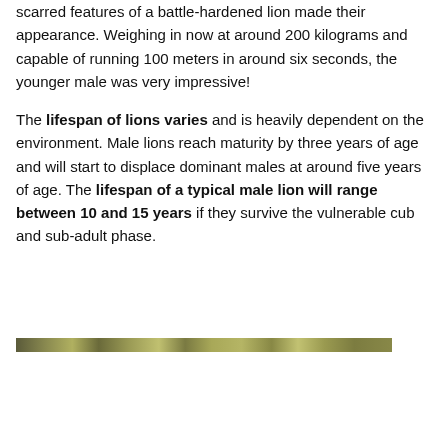scarred features of a battle-hardened lion made their appearance. Weighing in now at around 200 kilograms and capable of running 100 meters in around six seconds, the younger male was very impressive!
The lifespan of lions varies and is heavily dependent on the environment. Male lions reach maturity by three years of age and will start to displace dominant males at around five years of age. The lifespan of a typical male lion will range between 10 and 15 years if they survive the vulnerable cub and sub-adult phase.
[Figure (photo): A narrow horizontal strip of a photo showing what appears to be a lion or savanna scene with green and brown tones.]